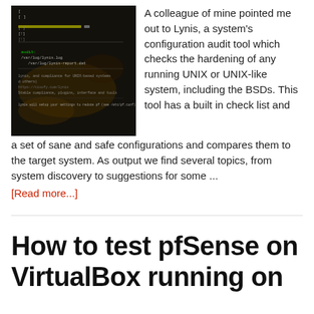[Figure (screenshot): Terminal/command line screenshot showing Lynis tool output on a dark background with green and white text.]
A colleague of mine pointed me out to Lynis, a system's configuration audit tool which checks the hardening of any running UNIX or UNIX-like system, including the BSDs. This tool has a built in check list and a set of sane and safe configurations and compares them to the target system. As output we find several topics, from system discovery to suggestions for some ...
[Read more...]
How to test pfSense on VirtualBox running on